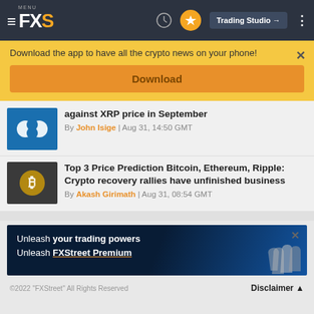FXS — Menu, Trading Studio, navigation bar
Download the app to have all the crypto news on your phone!
Download
against XRP price in September
By John Isige | Aug 31, 14:50 GMT
Top 3 Price Prediction Bitcoin, Ethereum, Ripple: Crypto recovery rallies have unfinished business
By Akash Girimath | Aug 31, 08:54 GMT
[Figure (infographic): FXStreet Premium ad banner: Unleash your trading powers, Unleash FXStreet Premium, with raised fists imagery]
©2022 "FXStreet" All Rights Reserved    Disclaimer ▲